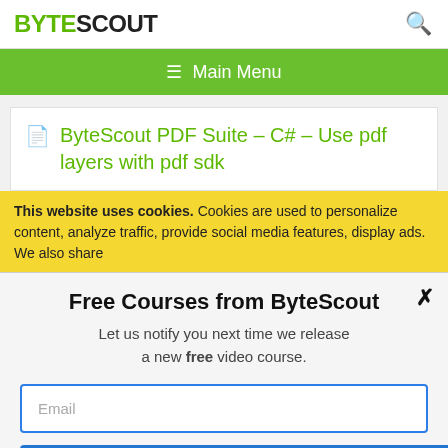BYTESCOUT
≡  Main Menu
ByteScout PDF Suite – C# – Use pdf layers with pdf sdk
This website uses cookies. Cookies are used to personalize content, analyze traffic, provide social media features, display ads. We also share
Free Courses from ByteScout
Let us notify you next time we release a new free video course.
Email
SUBSCRIBE